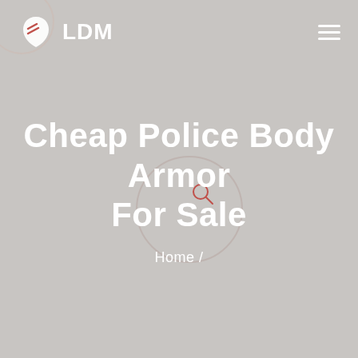[Figure (logo): LDM logo with shield/leaf icon and text 'LDM' in white on grey background]
Cheap Police Body Armor For Sale
Home /